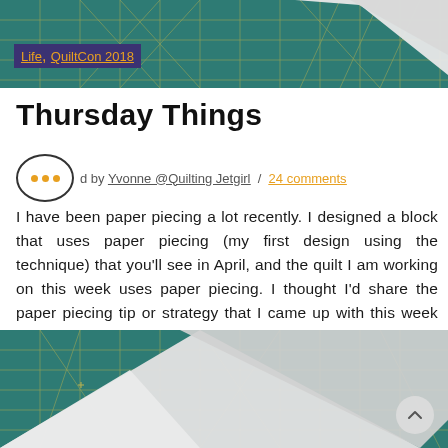[Figure (photo): Top portion of a teal/green quilting cutting mat with white paper pieces on it, partially visible at the top of the page.]
Life, QuiltCon 2018
Thursday Things
d by Yvonne @Quilting Jetgirl / 24 comments
I have been paper piecing a lot recently. I designed a block that uses paper piecing (my first design using the technique) that you'll see in April, and the quilt I am working on this week uses paper piecing. I thought I'd share the paper piecing tip or strategy that I came up with this week that has made things go smoothly and quickly for me.
[Figure (photo): Bottom portion showing a teal quilting cutting mat with white paper/fabric triangles arranged on it, with a partially visible circular back-to-top button in the lower right corner.]